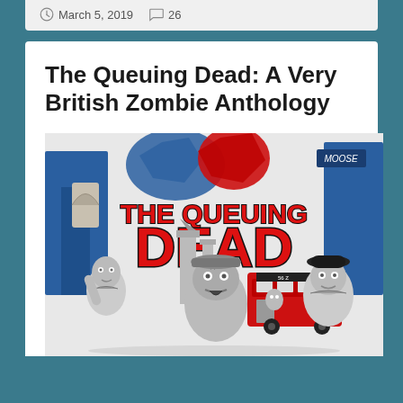March 5, 2019  26
The Queuing Dead: A Very British Zombie Anthology
[Figure (illustration): Book cover illustration for 'The Queuing Dead: A Very British Zombie Anthology'. Shows large red comic-style title text 'THE QUEUING DEAD' with 'DEAD' in massive letters. Background has red and blue silhouettes of London landmarks and a Union Jack splash. Foreground features three zombie figures: one thin zombie in a suit on the left, a central zombie with a cap, and a bowler-hat wearing gentleman zombie on the right, with a red double-decker bus behind them. Black and white illustration style with red and blue color accents.]